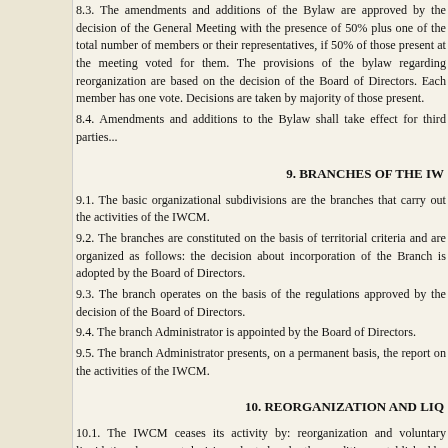8.3. The amendments and additions of the Bylaw are approved by the decision of the General Meeting with the presence of 50% plus one of the total number of members or their representatives, if 50% of those present at the meeting voted for them. The provisions of the bylaw regarding reorganization are changed based on the decision of the Board of Directors. Each member has one vote. Decisions are taken by majority of those present.
8.4. Amendments and additions to the Bylaw shall take effect for third parties...
9. BRANCHES OF THE IW...
9.1. The basic organizational subdivisions are the branches that carry out the...
9.2. The branches are constituted on the basis of territorial criteria and are o... about incorporation of the Branch is adopted by the Board of Directors.
9.3. The branch operates on the basis of the regulations approved by the decis...
9.4. The branch Administrator is appointed by the Board of Directors.
9.5. The branch Administrator presents, on a permanent basis, the report on the activities of the IWCM.
10. REORGANIZATION AND LIQ...
10.1. The IWCM ceases its activity by: reorganization and voluntary liquidation... adopted under the conditions established by the present bylaw.
10.2. The reorganization of the IWCM is carried out, in accordance... dismemberment (division, separation) or transformation with prior notification... after its registration in the competent state body.
10.3. Voluntary liquidation may take place if the statutory purposes cannot b... statutory objectives are not met.
10.4. The IWCM may be forcibly wound up, at the request of the Ministry...